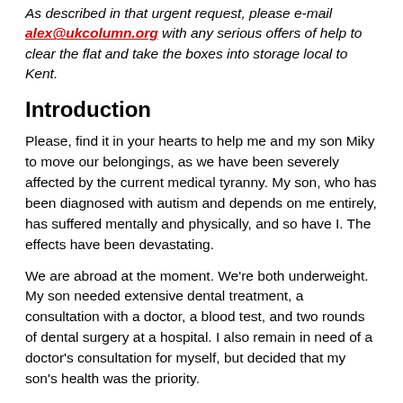As described in that urgent request, please e-mail alex@ukcolumn.org with any serious offers of help to clear the flat and take the boxes into storage local to Kent.
Introduction
Please, find it in your hearts to help me and my son Miky to move our belongings, as we have been severely affected by the current medical tyranny. My son, who has been diagnosed with autism and depends on me entirely, has suffered mentally and physically, and so have I. The effects have been devastating.
We are abroad at the moment. We're both underweight. My son needed extensive dental treatment, a consultation with a doctor, a blood test, and two rounds of dental surgery at a hospital. I also remain in need of a doctor's consultation for myself, but decided that my son's health was the priority.
Why we left Britain
I am in my sixties and have been living in England in recent